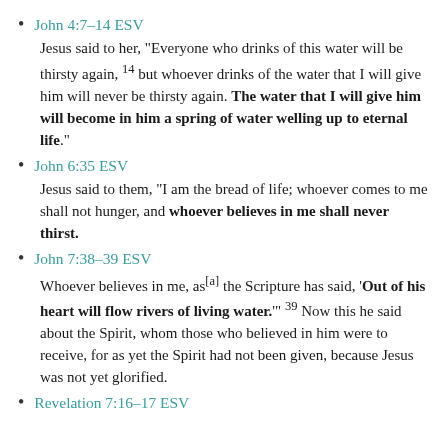John 4:7–14 ESV
Jesus said to her, “Everyone who drinks of this water will be thirsty again, 14 but whoever drinks of the water that I will give him will never be thirsty again. The water that I will give him will become in him a spring of water welling up to eternal life.”
John 6:35 ESV
Jesus said to them, “I am the bread of life; whoever comes to me shall not hunger, and whoever believes in me shall never thirst.
John 7:38–39 ESV
Whoever believes in me, as[a] the Scripture has said, ‘Out of his heart will flow rivers of living water.’” 39 Now this he said about the Spirit, whom those who believed in him were to receive, for as yet the Spirit had not been given, because Jesus was not yet glorified.
Revelation 7:16–17 ESV